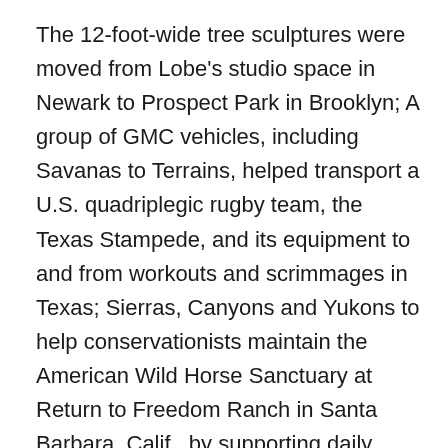The 12-foot-wide tree sculptures were moved from Lobe's studio space in Newark to Prospect Park in Brooklyn; A group of GMC vehicles, including Savanas to Terrains, helped transport a U.S. quadriplegic rugby team, the Texas Stampede, and its equipment to and from workouts and scrimmages in Texas; Sierras, Canyons and Yukons to help conservationists maintain the American Wild Horse Sanctuary at Return to Freedom Ranch in Santa Barbara, Calif., by supporting daily ranch activities, as well as transporting materials. “Hauling materials to build a 30-ton 17th century historic yacht is not for the lightweights. GMC vehicles are heavy duty, but handle like a Sunday drive in the park,” said Don Rittner, president of The Onrust Project. “When we had to move a ton of 400-year-old wood from the boat shed to the warehouse, the GMC Sierra made it seem like we